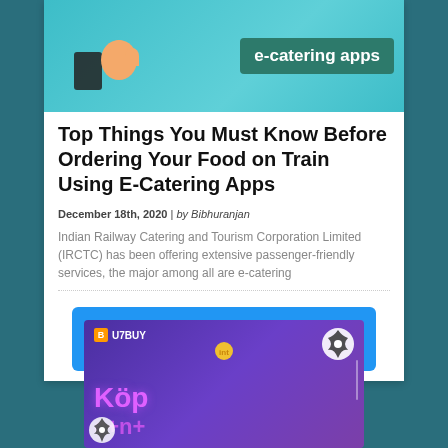[Figure (illustration): Hero banner image showing e-catering apps theme with a hand holding a phone and green sign reading 'e-catering apps' on teal background]
Top Things You Must Know Before Ordering Your Food on Train Using E-Catering Apps
December 18th, 2020 | by Bibhuranjan
Indian Railway Catering and Tourism Corporation Limited (IRCTC) has been offering extensive passenger-friendly services, the major among all are e-catering
Back to Top ↑
[Figure (illustration): U7BUY advertisement banner with purple background showing 'Köp' text and partial additional text, with soccer ball and coin graphics]